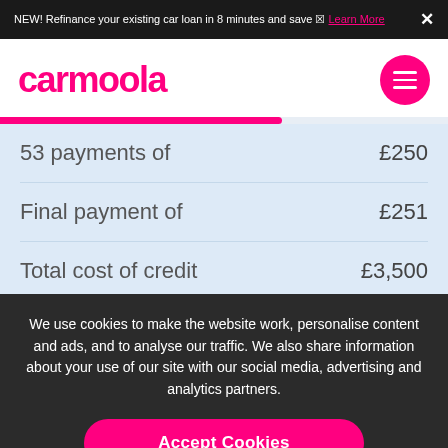NEW! Refinance your existing car loan in 8 minutes and save ✉ Learn More
[Figure (logo): Carmoola logo in pink with hamburger menu button]
| 53 payments of | £250 |
| Final payment of | £251 |
| Total cost of credit | £3,500 |
We use cookies to make the website work, personalise content and ads, and to analyse our traffic. We also share information about your use of our site with our social media, advertising and analytics partners.
Accept Cookies
Manage Preferences